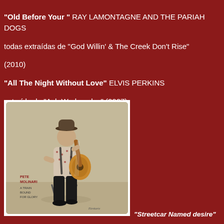"Old Before Your " RAY LAMONTAGNE AND THE PARIAH DOGS todas extraídas de "God Willin' & The Creek Don't Rise" (2010) "All The Night Without Love" ELVIS PERKINS extraída de "Ash Wednesday" (2007) "Family Tree" SANDRO PERRI extraída de "Tiny Mirrors" (2007)
[Figure (photo): Album cover for Pete Molinari 'A Train Bound For Glory' showing a young man sitting on a stool playing acoustic guitar, wearing a patterned shirt with suspenders and dark trousers, against a beige background. Text reads PETE MOLINARI A TRAIN BOUND FOR GLORY.]
"Streetcar Named desire" PETE MOLINARI
"Willow Weep For Me" PETE MOLINARI
"Little Less Loneliness" PETE MOLINARI